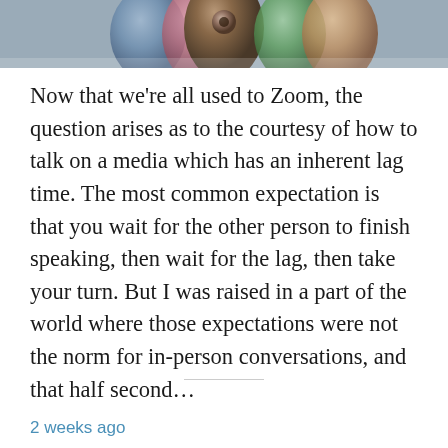[Figure (photo): Close-up photo of colored pencils viewed from the tips, showing pencil tops with circular cross-sections, blurred background with blue, pink, and other colors]
Now that we're all used to Zoom, the question arises as to the courtesy of how to talk on a media which has an inherent lag time. The most common expectation is that you wait for the other person to finish speaking, then wait for the lag, then take your turn. But I was raised in a part of the world where those expectations were not the norm for in-person conversations, and that half second…
2 weeks ago